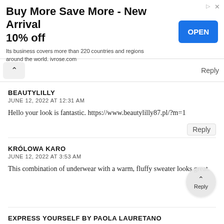[Figure (other): Advertisement banner: 'Buy More Save More - New Arrival 10% off' with an OPEN button and text 'Its business covers more than 220 countries and regions around the world. ivrose.com']
BEAUTYLILLY
JUNE 12, 2022 AT 12:31 AM
Hello your look is fantastic. https://www.beautylilly87.pl/?m=1
KRÓLOWA KARO
JUNE 12, 2022 AT 3:53 AM
This combination of underwear with a warm, fluffy sweater looks great.
EXPRESS YOURSELF BY PAOLA LAURETANO
JUNE 12, 2022 AT 5:33 AM